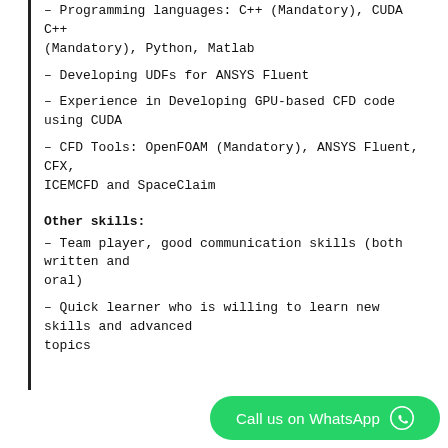– Programming languages: C++ (Mandatory), CUDA C++ (Mandatory), Python, Matlab
– Developing UDFs for ANSYS Fluent
– Experience in Developing GPU-based CFD code using CUDA
– CFD Tools: OpenFOAM (Mandatory), ANSYS Fluent, CFX, ICEMCFD and SpaceClaim
Other skills:
– Team player, good communication skills (both written and oral)
– Quick learner who is willing to learn new skills and advanced topics
Call us on WhatsApp